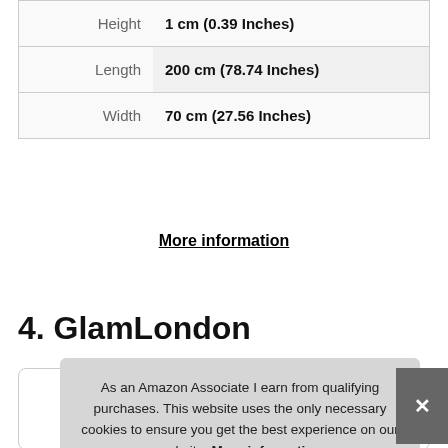|  |  |
| --- | --- |
| Height | 1 cm (0.39 Inches) |
| Length | 200 cm (78.74 Inches) |
| Width | 70 cm (27.56 Inches) |
More information
4. GlamLondon
[Figure (photo): Product image card for GlamLondon item]
As an Amazon Associate I earn from qualifying purchases. This website uses the only necessary cookies to ensure you get the best experience on our website. More information